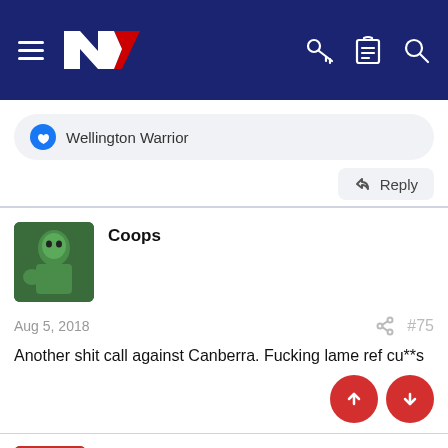NZ Warriors forum header with logo and navigation icons
Wellington Warrior
Reply
Coops
Aug 5, 2018  #75
Another shit call against Canberra. Fucking lame ref cu**s
leaguejunkie